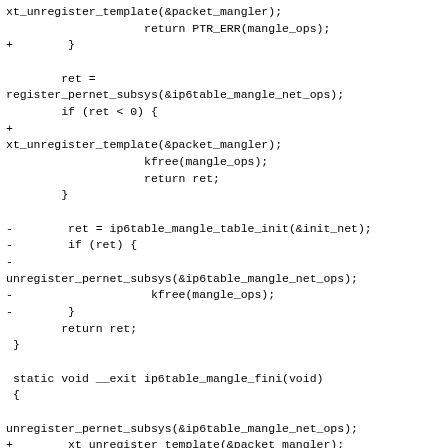xt_unregister_template(&packet_mangler);
                    return PTR_ERR(mangle_ops);
+        }

        ret =
register_pernet_subsys(&ip6table_mangle_net_ops);
        if (ret < 0) {
+
xt_unregister_template(&packet_mangler);
                    kfree(mangle_ops);
                    return ret;
        }

-        ret = ip6table_mangle_table_init(&init_net);
-        if (ret) {
-
unregister_pernet_subsys(&ip6table_mangle_net_ops);
-                    kfree(mangle_ops);
-        }
        return ret;
 }

 static void __exit ip6table_mangle_fini(void)
 {

unregister_pernet_subsys(&ip6table_mangle_net_ops);
+        xt_unregister_template(&packet_mangler);
        kfree(mangle_ops);
 }